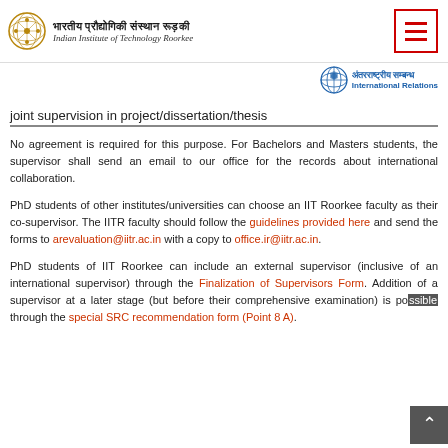भारतीय प्रौद्योगिकी संस्थान रूड़की | Indian Institute of Technology Roorkee
[Figure (logo): IIT Roorkee International Relations logo with globe icon and text 'अंतरराष्ट्रीय सम्बन्ध International Relations' in blue]
joint supervision in project/dissertation/thesis
No agreement is required for this purpose. For Bachelors and Masters students, the supervisor shall send an email to our office for the records about international collaboration.
PhD students of other institutes/universities can choose an IIT Roorkee faculty as their co-supervisor. The IITR faculty should follow the guidelines provided here and send the forms to arevaluation@iitr.ac.in with a copy to office.ir@iitr.ac.in.
PhD students of IIT Roorkee can include an external supervisor (inclusive of an international supervisor) through the Finalization of Supervisors Form. Addition of a supervisor at a later stage (but before their comprehensive examination) is possible through the special SRC recommendation form (Point 8 A).